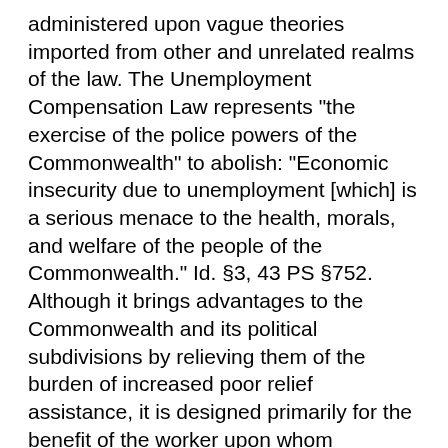administered upon vague theories imported from other and unrelated realms of the law. The Unemployment Compensation Law represents "the exercise of the police powers of the Commonwealth" to abolish: "Economic insecurity due to unemployment [which] is a serious menace to the health, morals, and welfare of the people of the Commonwealth." Id. §3, 43 PS §752. Although it brings advantages to the Commonwealth and its political subdivisions by relieving them of the burden of increased poor relief assistance, it is designed primarily for the benefit of the worker upon whom unemployment "falls with crushing force." Id. These benefits must not be denied by fanciful, strained, unnatural, distorted or mere technical construction. It is a remedial statute, and excepting the sections imposing taxes, its provisions must be liberally and broadly